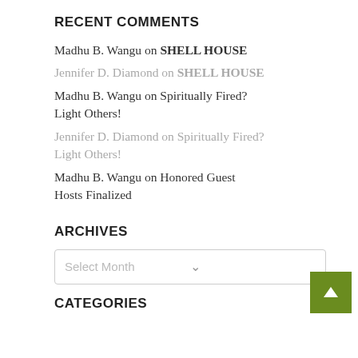RECENT COMMENTS
Madhu B. Wangu on SHELL HOUSE
Jennifer D. Diamond on SHELL HOUSE
Madhu B. Wangu on Spiritually Fired? Light Others!
Jennifer D. Diamond on Spiritually Fired? Light Others!
Madhu B. Wangu on Honored Guest Hosts Finalized
ARCHIVES
Select Month
CATEGORIES